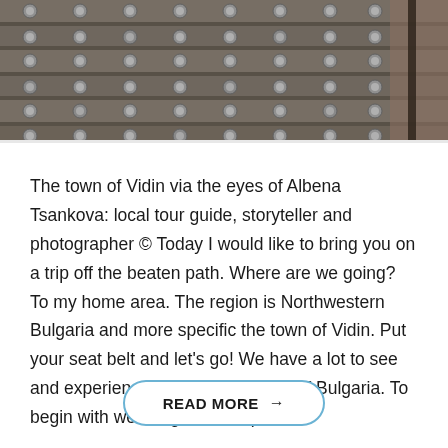[Figure (photo): Close-up photograph of an ancient studded wooden door or gate with metal rivets/bolts arranged in rows, showing aged wood and metal hardware with dark tones]
The town of Vidin via the eyes of Albena Tsankova: local tour guide, storyteller and photographer © Today I would like to bring you on a trip off the beaten path. Where are we going? To my home area. The region is Northwestern Bulgaria and more specific the town of Vidin. Put your seat belt and let's go! We have a lot to see and experience in the countryside of Bulgaria. To begin with we will go via the parts
READ MORE →